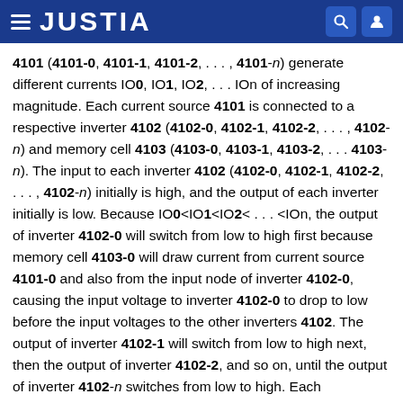JUSTIA
4101 (4101-0, 4101-1, 4101-2, . . . , 4101-n) generate different currents IO0, IO1, IO2, . . . IOn of increasing magnitude. Each current source 4101 is connected to a respective inverter 4102 (4102-0, 4102-1, 4102-2, . . . , 4102-n) and memory cell 4103 (4103-0, 4103-1, 4103-2, . . . 4103-n). The input to each inverter 4102 (4102-0, 4102-1, 4102-2, . . . , 4102-n) initially is high, and the output of each inverter initially is low. Because IO0<IO1<IO2< . . . <IOn, the output of inverter 4102-0 will switch from low to high first because memory cell 4103-0 will draw current from current source 4101-0 and also from the input node of inverter 4102-0, causing the input voltage to inverter 4102-0 to drop to low before the input voltages to the other inverters 4102. The output of inverter 4102-1 will switch from low to high next, then the output of inverter 4102-2, and so on, until the output of inverter 4102-n switches from low to high. Each